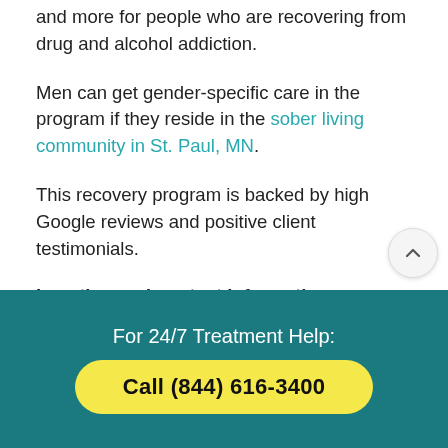and more for people who are recovering from drug and alcohol addiction.
Men can get gender-specific care in the program if they reside in the sober living community in St. Paul, MN.
This recovery program is backed by high Google reviews and positive client testimonials.
Location and contact information:
366 Prior Ave. North
Saint Paul, MN 55104
For 24/7 Treatment Help: Call (844) 616-3400